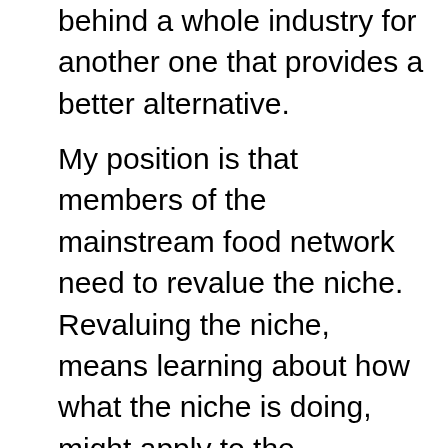behind a whole industry for another one that provides a better alternative.
My position is that members of the mainstream food network need to revalue the niche. Revaluing the niche, means learning about how what the niche is doing, might apply to the mainstream, instead of doing the opposite. The niche is likely to provide an insanely rich source of actionable customer insights, that the monolith execution network will never discover.
The dichotomy in our discussion is dangerously artificial. It is created by fear, leading to scathing of the tinkerers, with complete disregard of the fact that we're dealing with competing business organisms in the same ecosystem. What we should have is inspiration leading to the embrace, crediting the tinkerer with the insights they can provide about